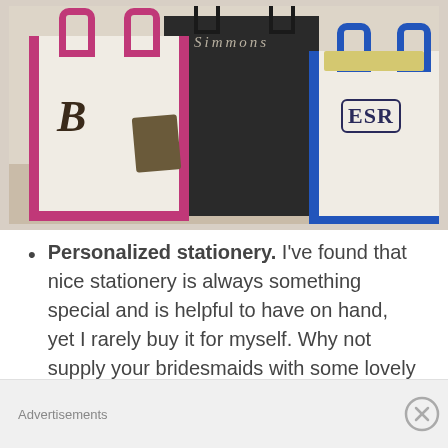[Figure (photo): Photo of three monogrammed canvas tote bags on a shelf. Left bag has pink/magenta trim with a cursive 'B' monogram. Center large bag is dark/navy with 'Simmons' text and sunglasses hanging from it. Right bag has blue trim with 'ESR' monogram in a circle frame.]
Personalized stationery. I've found that nice stationery is always something special and is helpful to have on hand, yet I rarely buy it for myself. Why not supply your bridesmaids with some lovely personalized note cards?:
Advertisements